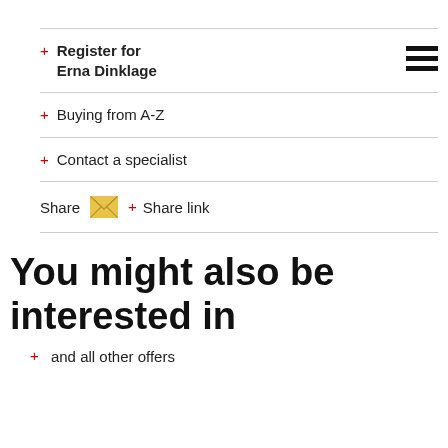+ Register for Erna Dinklage
+ Buying from A-Z
+ Contact a specialist
Share [envelope icon] + Share link
You might also be interested in
+ and all other offers
R. SCHLICHTER   KARL HUBBUCH